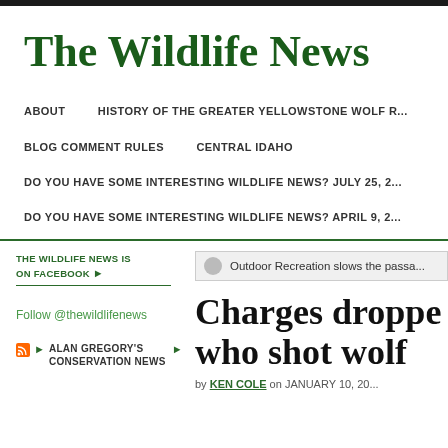The Wildlife News
ABOUT   HISTORY OF THE GREATER YELLOWSTONE WOLF R...   BLOG COMMENT RULES   CENTRAL IDAHO   DO YOU HAVE SOME INTERESTING WILDLIFE NEWS? JULY 25, 2...   DO YOU HAVE SOME INTERESTING WILDLIFE NEWS? APRIL 9, 2...
THE WILDLIFE NEWS IS ON FACEBOOK
Outdoor Recreation slows the passa...
Follow @thewildlifenews
ALAN GREGORY'S CONSERVATION NEWS
Charges droppe... who shot wolf
by KEN COLE on JANUARY 10, 20...